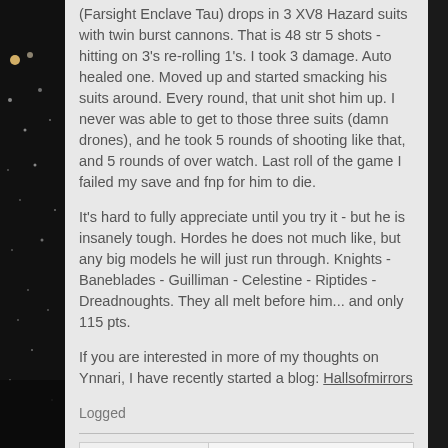(Farsight Enclave Tau) drops in 3 XV8 Hazard suits with twin burst cannons. That is 48 str 5 shots - hitting on 3's re-rolling 1's. I took 3 damage. Auto healed one. Moved up and started smacking his suits around. Every round, that unit shot him up. I never was able to get to those three suits (damn drones), and he took 5 rounds of shooting like that, and 5 rounds of over watch. Last roll of the game I failed my save and fnp for him to die.
It's hard to fully appreciate until you try it - but he is insanely tough. Hordes he does not much like, but any big models he will just run through. Knights - Baneblades - Guilliman - Celestine - Riptides - Dreadnoughts. They all melt before him... and only 115 pts.
If you are interested in more of my thoughts on Ynnari, I have recently started a blog: Hallsofmirrors
Logged
Quote from: Razyus on July
So, what your saying is it's not your